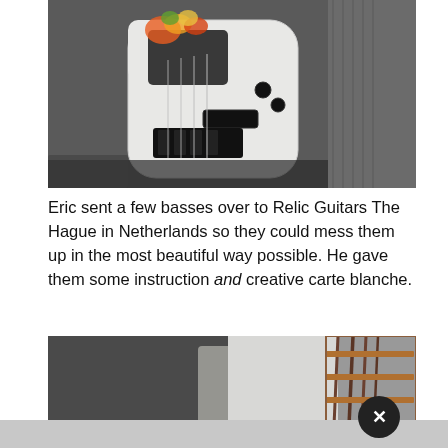[Figure (photo): A white Telecaster-style electric bass guitar leaning against a dark amplifier cabinet, with colorful floral decoration at the top of the body, black pickguard and hardware, photographed from above at a slight angle.]
Eric sent a few basses over to Relic Guitars The Hague in Netherlands so they could mess them up in the most beautiful way possible. He gave them some instruction and creative carte blanche.
[Figure (photo): Close-up photo of guitar strings and fretboard, with copper/brown colored hardware visible on the right side, and a blurred dark background on the left.]